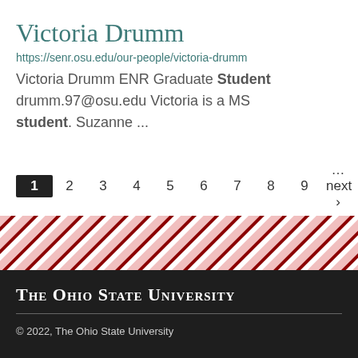Victoria Drumm
https://senr.osu.edu/our-people/victoria-drumm
Victoria Drumm ENR Graduate Student drumm.97@osu.edu Victoria is a MS student. Suzanne ...
1 2 3 4 5 6 7 8 9 …next › last »
[Figure (illustration): Diagonal red and white stripe decorative banner]
The Ohio State University © 2022, The Ohio State University